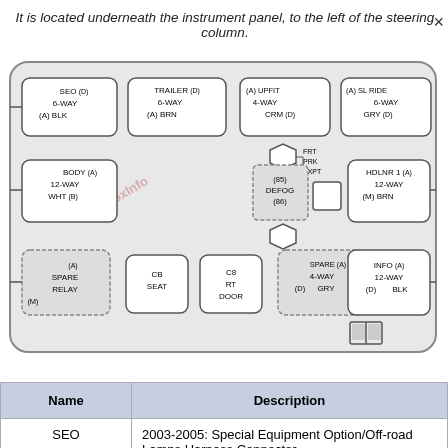It is located underneath the instrument panel, to the left of the steering column.
[Figure (schematic): Fuse box diagram showing connectors: SEO 6-WAY BLK (A)(D), TRAILER 6-WAY BRN (D)(A), UPFIT 4-WAY CRM (A)(D), SL RIDE 6-WAY GRY (A)(D), HDLNR 2 6-WAY CRM (A)(D), BODY 12-WAY WHT (A)(B), (85) DEFOG (86), FRT PRK EXPT, HDLNR 1 12-WAY BRN (A)(M), SPARE RELAY (A)(M), CB SEAT, CB RT DOOR, SPARE 4-WAY GRY (A)(D), INFO 12-WAY BLK (A)(D), and a book icon.]
| Name | Description |
| --- | --- |
| SEO | 2003-2005: Special Equipment Option/Off-road Lamps Harness Connector |